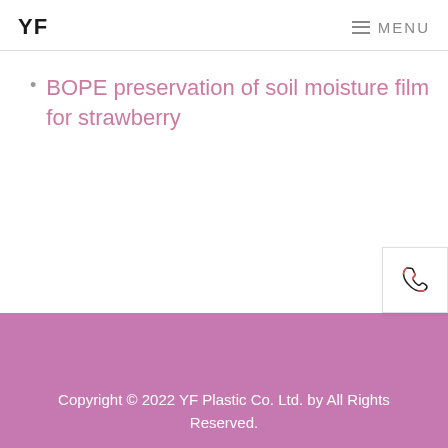YF  ☰ MENU
BOPE preservation of soil moisture film for strawberry
Copyright © 2022 YF Plastic Co. Ltd. by All Rights Reserved.